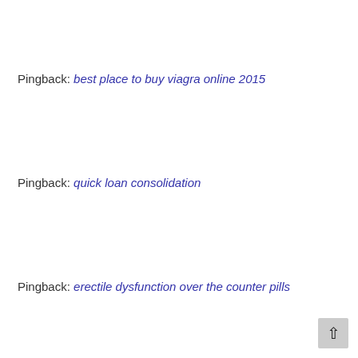Pingback: best place to buy viagra online 2015
Pingback: quick loan consolidation
Pingback: erectile dysfunction over the counter pills
Pingback: payday lenders
Pingback: payday loans columbus ohio
Pingback: amoxicillin online pharmacy
Pingback: personal loans bad credit
Pingback: buy cbd oil walmart